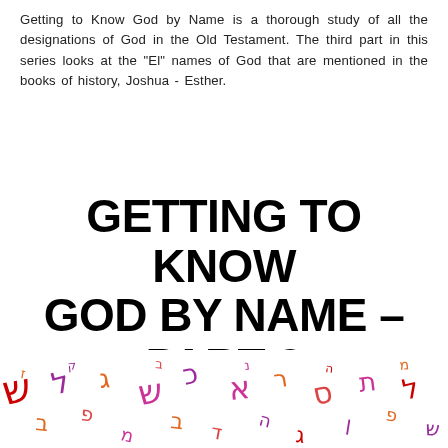Getting to Know God by Name is a thorough study of all the designations of God in the Old Testament. The third part in this series looks at the "El" names of God that are mentioned in the books of history, Joshua - Esther.
GETTING TO KNOW GOD BY NAME - PART 3
[Figure (illustration): Colorful scattered Hebrew letters and characters on a white background, in shades of orange, red, purple, pink, and dark red.]